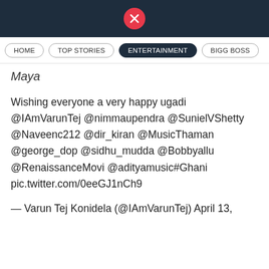[Figure (logo): Website header bar with X (formerly Twitter) logo icon in red circle on dark navy background]
HOME | TOP STORIES | ENTERTAINMENT | BIGG BOSS
Maya
Wishing everyone a very happy ugadi @IAmVarunTej @nimmaupendra @SunielVShetty @Naveenc212 @dir_kiran @MusicThaman @george_dop @sidhu_mudda @Bobbyallu @RenaissanceMovi @adityamusic#Ghani pic.twitter.com/0eeGJ1nCh9
— Varun Tej Konidela (@IAmVarunTej) April 13,